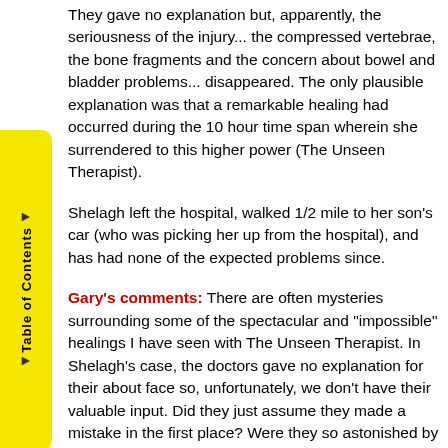They gave no explanation but, apparently, the seriousness of the injury... the compressed vertebrae, the bone fragments and the concern about bowel and bladder problems... disappeared. The only plausible explanation was that a remarkable healing had occurred during the 10 hour time span wherein she surrendered to this higher power (The Unseen Therapist).
Shelagh left the hospital, walked 1/2 mile to her son's car (who was picking her up from the hospital), and has had none of the expected problems since.
Gary's comments: There are often mysteries surrounding some of the spectacular and "impossible" healings I have seen with The Unseen Therapist. In Shelagh's case, the doctors gave no explanation for their about face so, unfortunately, we don't have their valuable input. Did they just assume they made a mistake in the first place? Were they so astonished by